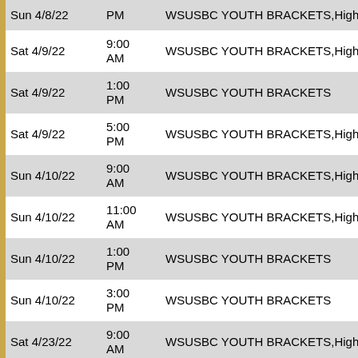| Date | Time | Event |
| --- | --- | --- |
| Sun 4/8/22 | PM | WSUSBC YOUTH BRACKETS,High Gam |
| Sat 4/9/22 | 9:00 AM | WSUSBC YOUTH BRACKETS,High Gam |
| Sat 4/9/22 | 1:00 PM | WSUSBC YOUTH BRACKETS |
| Sat 4/9/22 | 5:00 PM | WSUSBC YOUTH BRACKETS,High Gam |
| Sun 4/10/22 | 9:00 AM | WSUSBC YOUTH BRACKETS,High Gam |
| Sun 4/10/22 | 11:00 AM | WSUSBC YOUTH BRACKETS,High Gam |
| Sun 4/10/22 | 1:00 PM | WSUSBC YOUTH BRACKETS |
| Sun 4/10/22 | 3:00 PM | WSUSBC YOUTH BRACKETS |
| Sat 4/23/22 | 9:00 AM | WSUSBC YOUTH BRACKETS,High Gam |
| Sat 4/23/22 | 11:00 AM | WSUSBC YOUTH BRACKETS,High Gam |
| Sat 4/23/22 | 1:00 PM | WSUSBC YOUTH BRACKETS |
| Sat 4/23/22 | 3:00 PM | WSUSBC YOUTH BRACKETS |
| Sun 4/24/22 | 9:00 | WSUSBC YOUTH BRACKETS |